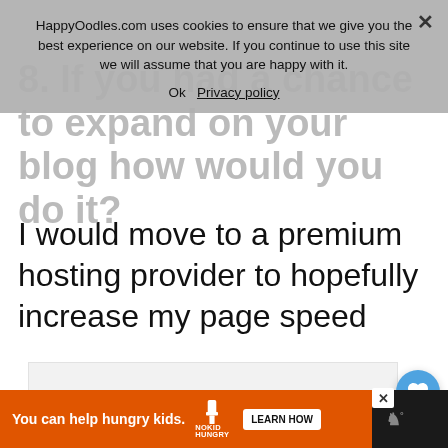8. If you had a chance to expand on your blog how would you do it?
HappyOodles.com uses cookies to ensure that we give you the best experience on our website. If you continue to use this site we will assume that you are happy with it.
Ok   Privacy policy
I would move to a premium hosting provider to hopefully increase my page speed
[Figure (other): White/light grey placeholder content area below the title]
[Figure (other): Heart/love floating action button (blue circle with heart icon)]
[Figure (other): Share floating action button (white circle with share icon)]
[Figure (other): What's Next widget showing Pet Blogger Journey 202... with circular thumbnail]
[Figure (other): Bottom advertisement bar: orange area with 'You can help hungry kids.' text, No Kid Hungry logo, Learn How button, and W logo on dark background]